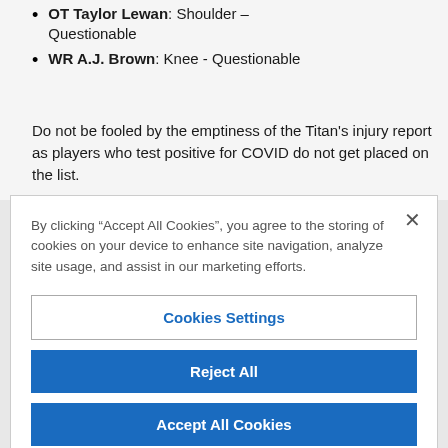OT Taylor Lewan: Shoulder - Questionable
WR A.J. Brown: Knee - Questionable
Do not be fooled by the emptiness of the Titan's injury report as players who test positive for COVID do not get placed on the list.
By clicking “Accept All Cookies”, you agree to the storing of cookies on your device to enhance site navigation, analyze site usage, and assist in our marketing efforts.
Cookies Settings
Reject All
Accept All Cookies